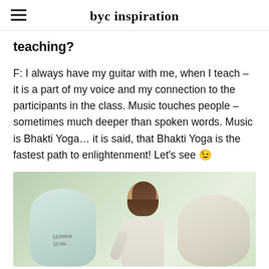byc inspiration
teaching?
F: I always have my guitar with me, when I teach – it is a part of my voice and my connection to the participants in the class. Music touches people – sometimes much deeper than spoken words. Music is Bhakti Yoga… it is said, that Bhakti Yoga is the fastest path to enlightenment! Let's see 😉
[Figure (photo): A man with long hair wearing a light-colored shirt, bending forward, with large jars/containers visible in the foreground, green foliage in background.]